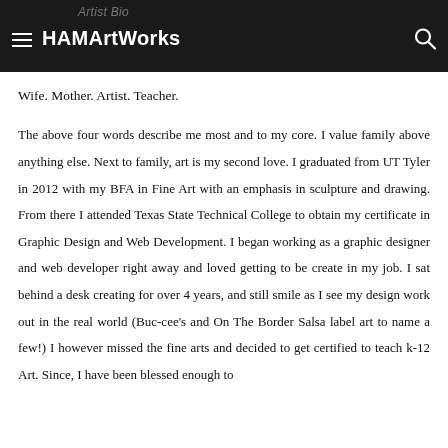Artist Bio — HAMArtWorks
Wife. Mother. Artist. Teacher.
The above four words describe me most and to my core. I value family above anything else. Next to family, art is my second love. I graduated from UT Tyler in 2012 with my BFA in Fine Art with an emphasis in sculpture and drawing. From there I attended Texas State Technical College to obtain my certificate in Graphic Design and Web Development. I began working as a graphic designer and web developer right away and loved getting to be create in my job. I sat behind a desk creating for over 4 years, and still smile as I see my design work out in the real world (Buc-cee's and On The Border Salsa label art to name a few!) I however missed the fine arts and decided to get certified to teach k-12 Art. Since, I have been blessed enough to